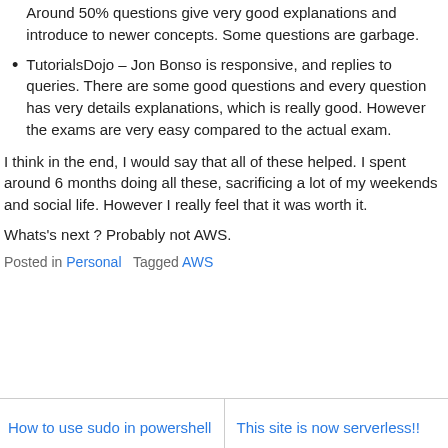Around 50% questions give very good explanations and introduce to newer concepts. Some questions are garbage.
TutorialsDojo – Jon Bonso is responsive, and replies to queries. There are some good questions and every question has very details explanations, which is really good. However the exams are very easy compared to the actual exam.
I think in the end, I would say that all of these helped. I spent around 6 months doing all these, sacrificing a lot of my weekends and social life. However I really feel that it was worth it.
Whats's next ? Probably not AWS.
Posted in Personal   Tagged AWS
How to use sudo in powershell
This site is now serverless!!